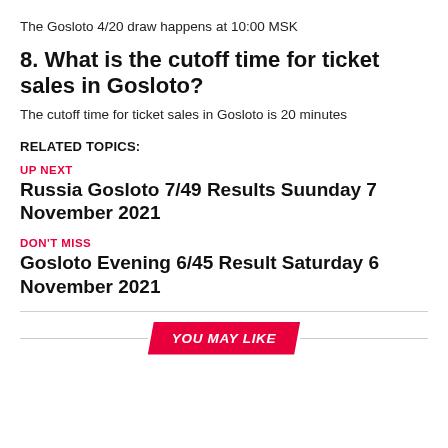The Gosloto 4/20 draw happens at 10:00 MSK
8. What is the cutoff time for ticket sales in Gosloto?
The cutoff time for ticket sales in Gosloto is 20 minutes
RELATED TOPICS:
UP NEXT
Russia Gosloto 7/49 Results Suunday 7 November 2021
DON'T MISS
Gosloto Evening 6/45 Result Saturday 6 November 2021
YOU MAY LIKE